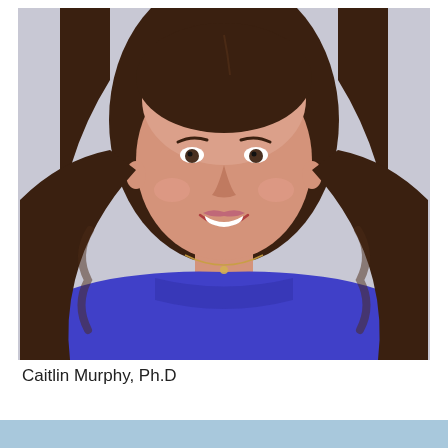[Figure (photo): Professional headshot of a woman with long brown wavy hair, smiling, wearing a royal blue sleeveless dress and a delicate gold necklace, photographed against a light gray background.]
Caitlin Murphy, Ph.D